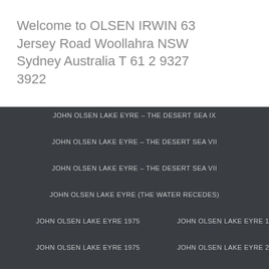Welcome to OLSEN IRWIN 63 Jersey Road Woollahra NSW Sydney Australia T 61 2 9327 3922
JOHN OLSEN LAKE EYRE – THE DESERT SEA IX
JOHN OLSEN LAKE EYRE – THE DESERT SEA VII
JOHN OLSEN LAKE EYRE – THE DESERT SEA VII
JOHN OLSEN LAKE EYRE (THE WATER RECEDES)
JOHN OLSEN LAKE EYRE 1975
JOHN OLSEN LAKE EYRE 1975
JOHN OLSEN LAKE EYRE 1975
JOHN OLSEN LAKE EYRE 2004